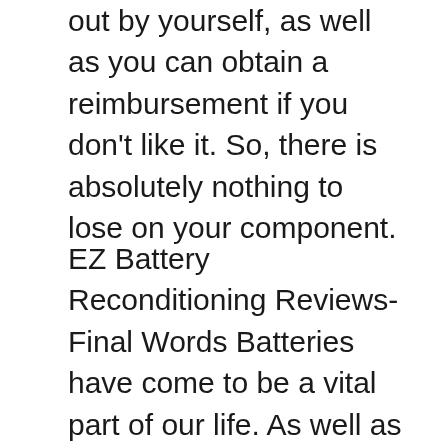out by yourself, as well as you can obtain a reimbursement if you don't like it. So, there is absolutely nothing to lose on your component.
EZ Battery Reconditioning Reviews- Final Words Batteries have come to be a vital part of our life. As well as we can anticipate that the future will certainly be absolutely based upon batteries. The arising electric vehicle will certainly raise the battery demand, and also the normal rate will certainly be greater. So, in the future, you can make use of the EZ Battery Reconditioning method to make your battery life expectancy much longer.
You may have the choice to purchase new or